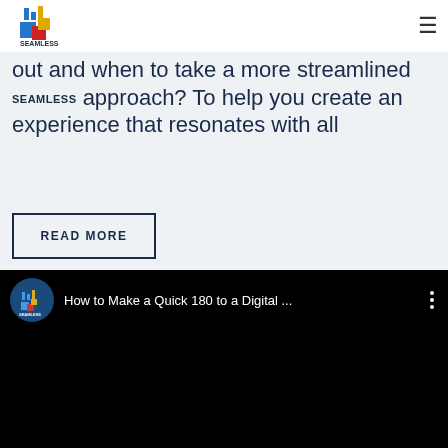SEAMLESS (logo) | hamburger menu
out and when to take a more streamlined approach? To help you create an experience that resonates with all
READ MORE
[Figure (screenshot): YouTube-style video embed showing 'How to Make a Quick 180 to a Digital ...' with SEAMLESS channel icon on black background]